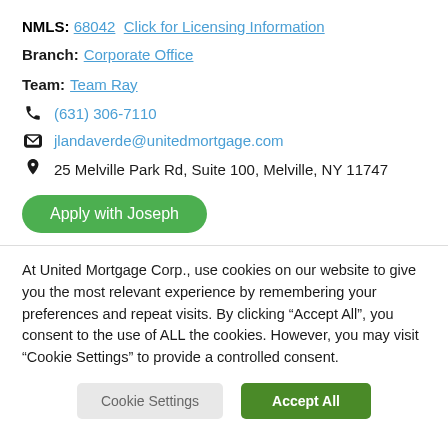NMLS: 68042  Click for Licensing Information
Branch: Corporate Office
Team: Team Ray
(631) 306-7110
jlandaverde@unitedmortgage.com
25 Melville Park Rd, Suite 100, Melville, NY 11747
Apply with Joseph
At United Mortgage Corp., use cookies on our website to give you the most relevant experience by remembering your preferences and repeat visits. By clicking “Accept All”, you consent to the use of ALL the cookies. However, you may visit “Cookie Settings” to provide a controlled consent.
Cookie Settings
Accept All